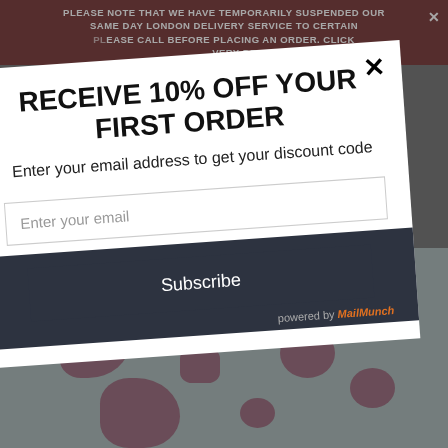PLEASE NOTE THAT WE HAVE TEMPORARILY SUSPENDED OUR SAME DAY LONDON DELIVERY SERVICE TO CERTAIN AREAS. PLEASE CALL BEFORE PLACING AN ORDER. CLICK HERE FOR DELIVERY DETAILS.
RECEIVE 10% OFF YOUR FIRST ORDER
Enter your email address to get your discount code
Enter your email
Subscribe
powered by MailMunch